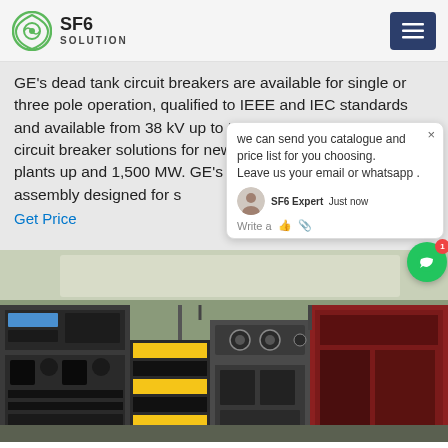SF6 SOLUTION
GE's dead tank circuit breakers are available for single or three pole operation, qualified to IEEE and IEC standards and available from 38 kV up to 550 kV. Flexible generator circuit breaker solutions for new and refurbished power plants up to and 1,500 MW. GE's HYpact is a hybrid switchgear assembly designed for s
Get Price
[Figure (photo): Industrial electrical equipment / SF6 circuit breaker machinery inside a facility, showing control panels, equipment racks, and machinery components]